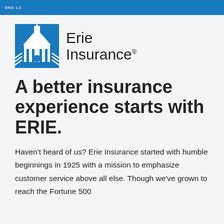ERIE 1.0
[Figure (logo): Erie Insurance logo — blue building/house icon with white architectural line art (steeple, columns, roof), followed by 'Erie Insurance®' text in dark sans-serif]
A better insurance experience starts with ERIE.
Haven't heard of us? Erie Insurance started with humble beginnings in 1925 with a mission to emphasize customer service above all else. Though we've grown to reach the Fortune 500